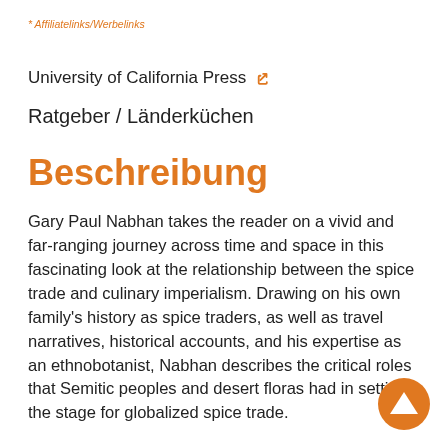* Affiliatelinks/Werbelinks
University of California Press 🔗
Ratgeber / Länderküchen
Beschreibung
Gary Paul Nabhan takes the reader on a vivid and far-ranging journey across time and space in this fascinating look at the relationship between the spice trade and culinary imperialism. Drawing on his own family's history as spice traders, as well as travel narratives, historical accounts, and his expertise as an ethnobotanist, Nabhan describes the critical roles that Semitic peoples and desert floras had in setting the stage for globalized spice trade.